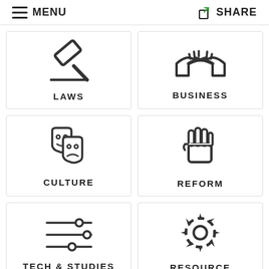MENU   SHARE
[Figure (illustration): Gavel/hammer icon representing LAWS category]
LAWS
[Figure (illustration): Handshake icon representing BUSINESS category]
BUSINESS
[Figure (illustration): Theater masks (comedy/tragedy) icon representing CULTURE category]
CULTURE
[Figure (illustration): Raised fist icon representing REFORM category]
REFORM
[Figure (illustration): Circuit/tech sliders icon representing TECH & STUDIES category]
TECH & STUDIES
[Figure (illustration): Gear/settings icon representing RESOURCE category]
RESOURCE